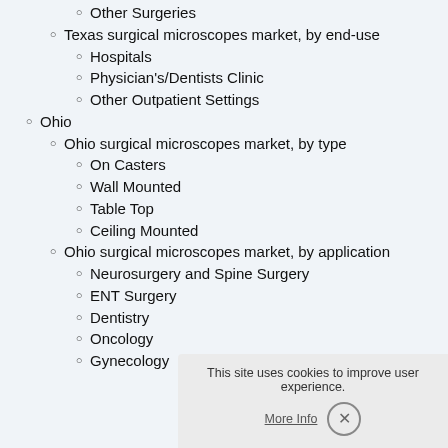Other Surgeries
Texas surgical microscopes market, by end-use
Hospitals
Physician's/Dentists Clinic
Other Outpatient Settings
Ohio
Ohio surgical microscopes market, by type
On Casters
Wall Mounted
Table Top
Ceiling Mounted
Ohio surgical microscopes market, by application
Neurosurgery and Spine Surgery
ENT Surgery
Dentistry
Oncology
Gynecology